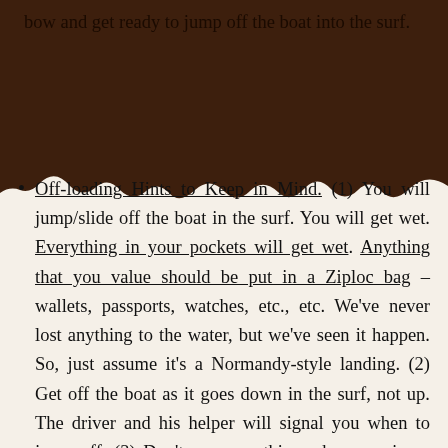bow and get ready to jump off the boat into the surf.
Off-loading Hints to Keep in Mind. (1) You will jump/slide off the boat in the surf. You will get wet. Everything in your pockets will get wet. Anything that you value should be put in a Ziploc bag – wallets, passports, watches, etc., etc. We've never lost anything to the water, but we've seen it happen. So, just assume it's a Normandy-style landing. (2) Get off the boat as it goes down in the surf, not up. The driver and his helper will signal you when to jump off. (3) Don't carry anything when you jump off, or